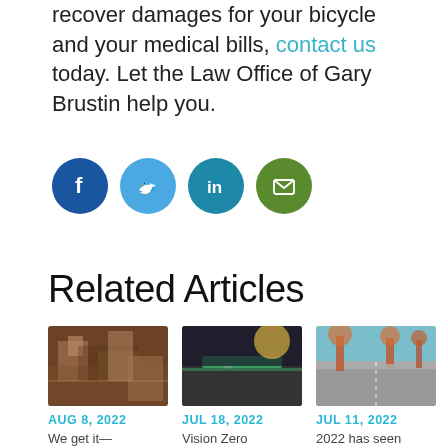recover damages for your bicycle and your medical bills, contact us today. Let the Law Office of Gary Brustin help you.
[Figure (infographic): Four social media sharing icons in circles: Facebook (dark blue), Twitter (light blue), LinkedIn (teal), Email (green)]
Related Articles
[Figure (photo): Cluttered room with debris and damaged items]
AUG 8, 2022
We get it—
[Figure (photo): Green bicycle lane on road with sunlight]
JUL 18, 2022
Vision Zero
[Figure (photo): Suburban street with autumn trees]
JUL 11, 2022
2022 has seen